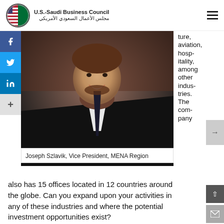U.S.-Saudi Business Council / مجلس الأعمال السعودي الأمريكي
[Figure (photo): Portrait photo of Joseph Szlavik, a bearded man in a dark suit and black tie, smiling.]
Joseph Szlavik, Vice President, MENA Region
ture, aviation, hospitality, among other industries. The company also has 15 offices located in 12 countries around the globe. Can you expand upon your activities in any of these industries and where the potential investment opportunities exist?